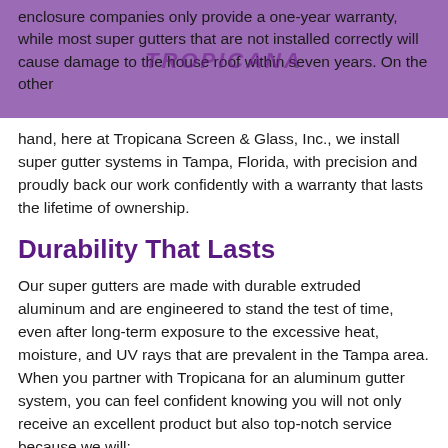enclosure companies only provide a one-year warranty, while most super gutters that are not installed correctly will cause damage to the house roof within seven years. On the other hand, here at Tropicana Screen & Glass, Inc., we install super gutter systems in Tampa, Florida, with precision and proudly back our work confidently with a warranty that lasts the lifetime of ownership.
Durability That Lasts
Our super gutters are made with durable extruded aluminum and are engineered to stand the test of time, even after long-term exposure to the excessive heat, moisture, and UV rays that are prevalent in the Tampa area. When you partner with Tropicana for an aluminum gutter system, you can feel confident knowing you will not only receive an excellent product but also top-notch service because we will:
Provide a free, in-home consultation, during which we will assess your needs and talk you all about...